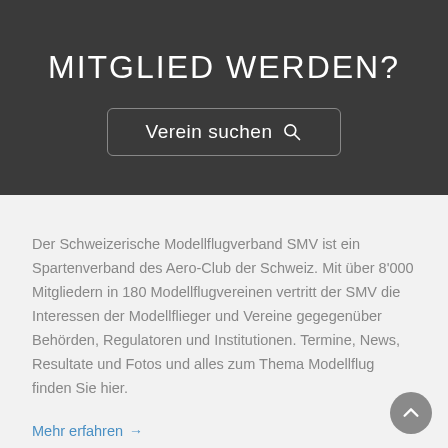MITGLIED WERDEN?
[Figure (other): Search button reading 'Verein suchen' with a magnifying glass icon, styled as a rounded rectangle button on dark background]
Der Schweizerische Modellflugverband SMV ist ein Spartenverband des Aero-Club der Schweiz. Mit über 8'000 Mitgliedern in 180 Modellflugvereinen vertritt der SMV die Interessen der Modellflieger und Vereine gegegenüber Behörden, Regulatoren und Institutionen. Termine, News, Resultate und Fotos und alles zum Thema Modellflug finden Sie hier.
Mehr erfahren →